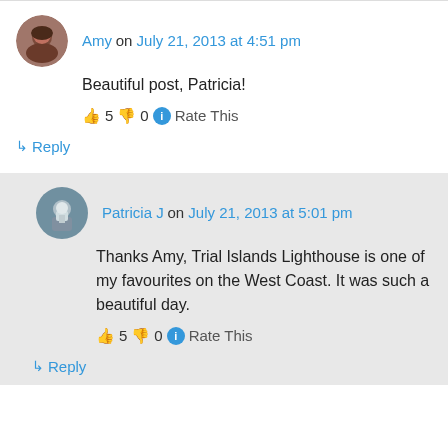Amy on July 21, 2013 at 4:51 pm
Beautiful post, Patricia!
👍 5 👎 0 ℹ Rate This
↳ Reply
Patricia J on July 21, 2013 at 5:01 pm
Thanks Amy, Trial Islands Lighthouse is one of my favourites on the West Coast. It was such a beautiful day.
👍 5 👎 0 ℹ Rate This
↳ Reply